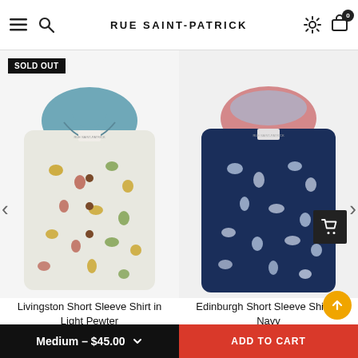RUE SAINT-PATRICK
Related Products
[Figure (photo): Folded short sleeve floral shirt in light pewter/white background with colorful floral print and blue collar lining. 'SOLD OUT' badge in top left.]
[Figure (photo): Folded short sleeve floral shirt in navy with dense floral pattern and pink/rose collar lining. Cart icon overlay at bottom right.]
Livingston Short Sleeve Shirt in Light Pewter
Edinburgh Short Sleeve Shirt in Navy
Medium – $45.00   ADD TO CART